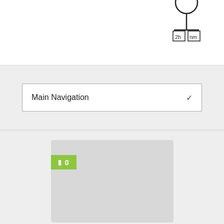[Figure (schematic): Partial view of a schematic or technical diagram showing a T-shaped element with bracket labels '2b' and 'nm' at the bottom, partially cropped at the top of the page.]
Main Navigation
[Figure (screenshot): A gray placeholder card/thumbnail rectangle with a green badge showing a small icon and the number '0'.]